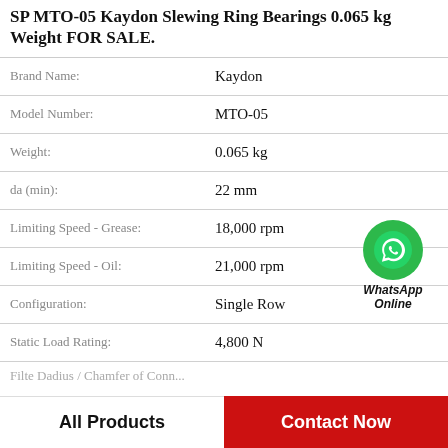SP MTO-05 Kaydon Slewing Ring Bearings 0.065 kg Weight FOR SALE.
| Property | Value |
| --- | --- |
| Brand Name: | Kaydon |
| Model Number: | MTO-05 |
| Weight: | 0.065 kg |
| da (min): | 22 mm |
| Limiting Speed - Grease: | 18,000 rpm |
| Limiting Speed - Oil: | 21,000 rpm |
| Configuration: | Single Row |
| Static Load Rating: | 4,800 N |
[Figure (logo): WhatsApp Online green circle icon with phone handset, label says WhatsApp Online]
All Products | Contact Now